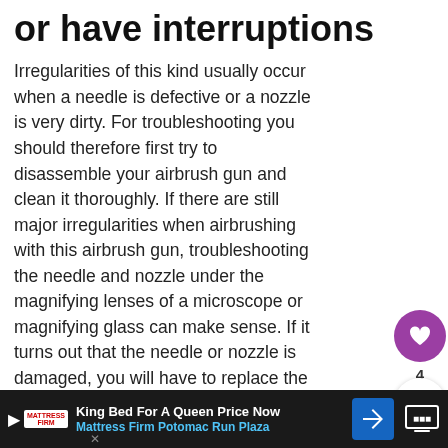or have interruptions
Irregularities of this kind usually occur when a needle is defective or a nozzle is very dirty. For troubleshooting you should therefore first try to disassemble your airbrush gun and clean it thoroughly. If there are still major irregularities when airbrushing with this airbrush gun, troubleshooting the needle and nozzle under the magnifying lenses of a microscope or magnifying glass can make sense. If it turns out that the needle or nozzle is damaged, you will have to replace the respective part.
The paint does not stick to the painting surface or tends to
[Figure (other): WHAT'S NEXT widget with thumbnail image and text 'Enamel Airbrush Pai...']
King Bed For A Queen Price Now | Mattress Firm Potomac Run Plaza [Advertisement]